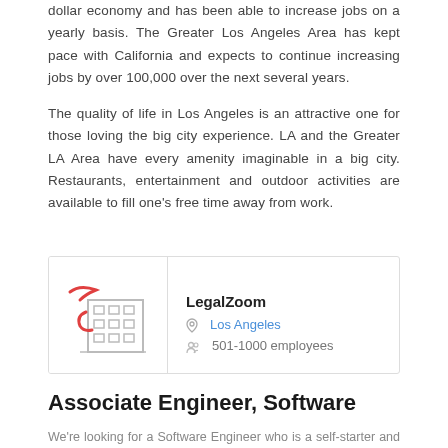dollar economy and has been able to increase jobs on a yearly basis. The Greater Los Angeles Area has kept pace with California and expects to continue increasing jobs by over 100,000 over the next several years.
The quality of life in Los Angeles is an attractive one for those loving the big city experience. LA and the Greater LA Area have every amenity imaginable in a big city. Restaurants, entertainment and outdoor activities are available to fill one's free time away from work.
[Figure (logo): LegalZoom company logo with building icon and red swoosh elements]
LegalZoom
Los Angeles
501-1000 employees
Associate Engineer, Software
We're looking for a Software Engineer who is a self-starter and can learn quickly, maintain focus, work collaboratively in an Agile